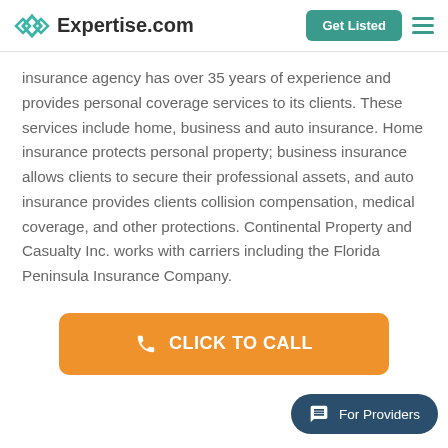Expertise.com
insurance agency has over 35 years of experience and provides personal coverage services to its clients. These services include home, business and auto insurance. Home insurance protects personal property; business insurance allows clients to secure their professional assets, and auto insurance provides clients collision compensation, medical coverage, and other protections. Continental Property and Casualty Inc. works with carriers including the Florida Peninsula Insurance Company.
[Figure (other): Orange 'CLICK TO CALL' button with phone icon]
[Figure (other): Dark teal 'For Providers' chat badge button]